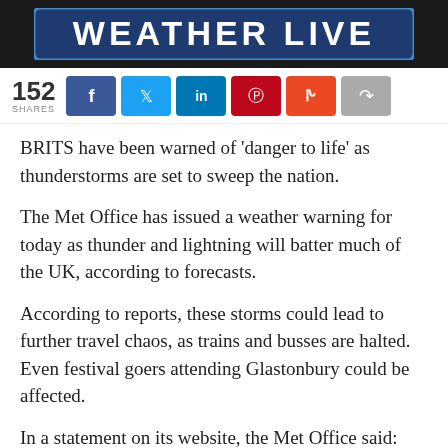[Figure (photo): Weather Live banner/logo header with dark background and styled text]
152 SHARES
BRITS have been warned of 'danger to life' as thunderstorms are set to sweep the nation.
The Met Office has issued a weather warning for today as thunder and lightning will batter much of the UK, according to forecasts.
According to reports, these storms could lead to further travel chaos, as trains and busses are halted. Even festival goers attending Glastonbury could be affected.
In a statement on its website, the Met Office said: “There is a small chance that homes and businesses could be flooded quickly, with damage to some buildings from floodwater, lightning strikes, hail or strong winds.